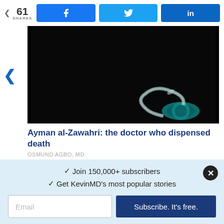61 SHARES
[Figure (photo): Dark image of a stethoscope on a black background, with teal/cyan stethoscope head visible in bottom right corner]
Ayman al-Zawahri: the doctor who dispensed death
OSMUND AGBO, MD
✓  Join 150,000+ subscribers
✓  Get KevinMD's most popular stories
Email
Subscribe. It's free.